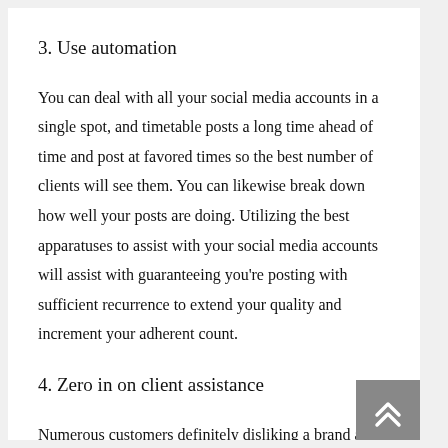3. Use automation
You can deal with all your social media accounts in a single spot, and timetable posts a long time ahead of time and post at favored times so the best number of clients will see them. You can likewise break down how well your posts are doing. Utilizing the best apparatuses to assist with your social media accounts will assist with guaranteeing you're posting with sufficient recurrence to extend your quality and increment your adherent count.
4. Zero in on client assistance
Numerous customers definitely disliking a brand are going to social media to get help rather than